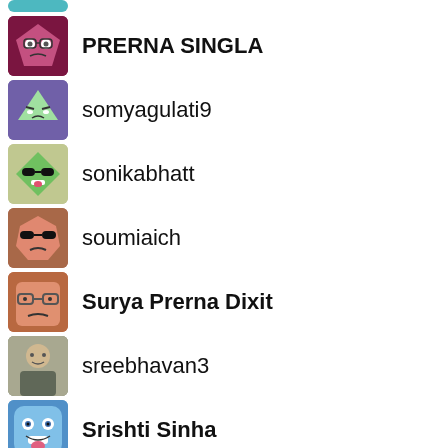PRERNA SINGLA
somyagulati9
sonikabhatt
soumiaich
Surya Prerna Dixit
sreebhavan3
Srishti Sinha
sruthireddyr
Shreya Sharma